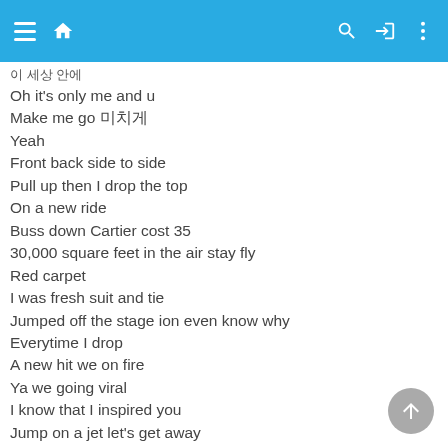App navigation bar
이 세상 안에
Oh it's only me and u
Make me go 미치게
Yeah
Front back side to side
Pull up then I drop the top
On a new ride
Buss down Cartier cost 35
30,000 square feet in the air stay fly
Red carpet
I was fresh suit and tie
Jumped off the stage ion even know why
Everytime I drop
A new hit we on fire
Ya we going viral
I know that I inspired you
Jump on a jet let's get away
Out of town
Find somewhere away
We can't be found